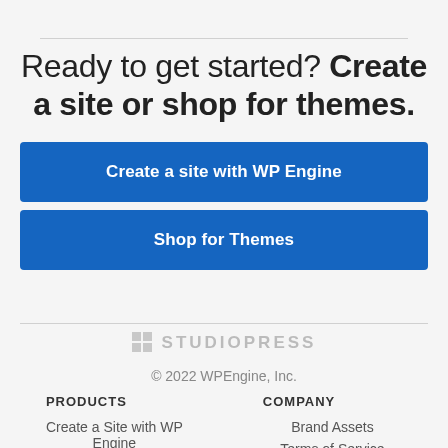Ready to get started? Create a site or shop for themes.
Create a site with WP Engine
Shop for Themes
[Figure (logo): StudioPress logo with grid icon and uppercase STUDIOPRESS text in grey]
© 2022 WPEngine, Inc.
PRODUCTS
COMPANY
Create a Site with WP Engine
Brand Assets
Terms of Service
Shop for Themes
Acceptable Use Policy